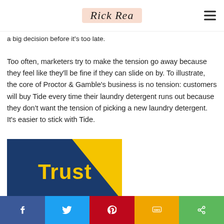Rick Rea
a big decision before it's too late.
Too often, marketers try to make the tension go away because they feel like they'll be fine if they can slide on by. To illustrate, the core of Proctor & Gamble's business is no tension: customers will buy Tide every time their laundry detergent runs out because they don't want the tension of picking a new laundry detergent. It's easier to stick with Tide.
[Figure (illustration): Blue and yellow diagonal split graphic with the word 'Trust' in bold yellow text on the blue section.]
Social share bar: Facebook, Twitter, Pinterest, SMS, Share